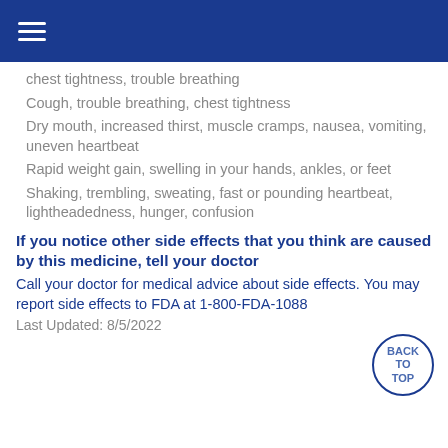≡
chest tightness, trouble breathing
Cough, trouble breathing, chest tightness
Dry mouth, increased thirst, muscle cramps, nausea, vomiting, uneven heartbeat
Rapid weight gain, swelling in your hands, ankles, or feet
Shaking, trembling, sweating, fast or pounding heartbeat, lightheadedness, hunger, confusion
If you notice other side effects that you think are caused by this medicine, tell your doctor
Call your doctor for medical advice about side effects. You may report side effects to FDA at 1-800-FDA-1088
Last Updated: 8/5/2022